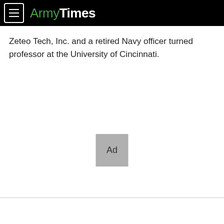ArmyTimes
Zeteo Tech, Inc. and a retired Navy officer turned professor at the University of Cincinnati.
[Figure (other): Advertisement placeholder box labeled 'Ad']